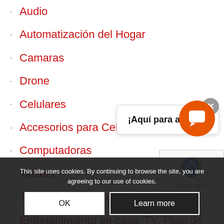Audio
Automatización del Hogar
Camaras
Drone
Celulares
Accesorios para Celulares
Computadoras
Tablets
Tecnologia Ponible
Entretenimiento en casa: TV, Flujo de medios
Realidad Virtual
Videojuegos
Reciba Ofertas
¡Aquí para ayudar!
This site uses cookies. By continuing to browse the site, you are agreeing to our use of cookies.
OK
Learn more